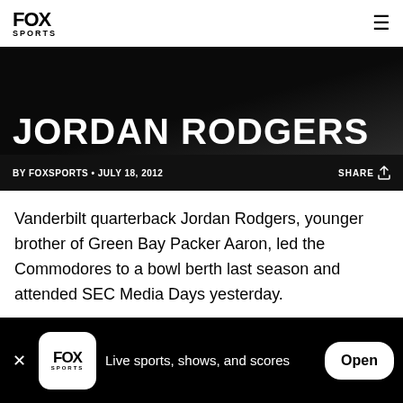FOX SPORTS
JORDAN RODGERS
BY FOXSPORTS • JULY 18, 2012
Vanderbilt quarterback Jordan Rodgers, younger brother of Green Bay Packer Aaron, led the Commodores to a bowl berth last season and attended SEC Media Days yesterday.
This year he is hoping to become the first
Live sports, shows, and scores